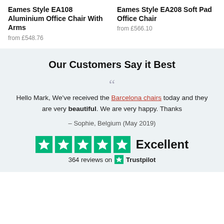Eames Style EA108 Aluminium Office Chair With Arms
from £548.76
Eames Style EA208 Soft Pad Office Chair
from £566.10
Our Customers Say it Best
Hello Mark, We've received the Barcelona chairs today and they are very beautiful. We are very happy. Thanks
– Sophie, Belgium (May 2019)
[Figure (infographic): Trustpilot rating: 5 green stars with 'Excellent' text and '364 reviews on Trustpilot' below]